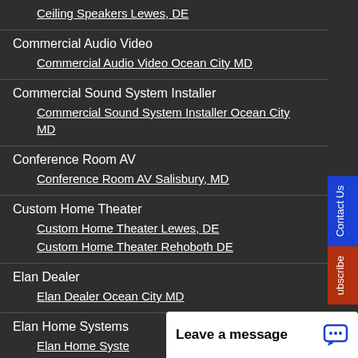Ceiling Speakers Lewes, DE
Commercial Audio Video
Commercial Audio Video Ocean City MD
Commercial Sound System Installer
Commercial Sound System Installer Ocean City MD
Conference Room AV
Conference Room AV Salisbury, MD
Custom Home Theater
Custom Home Theater Lewes, DE
Custom Home Theater Rehoboth DE
Elan Dealer
Elan Dealer Ocean City MD
Elan Home Systems
Elan Home Syste...